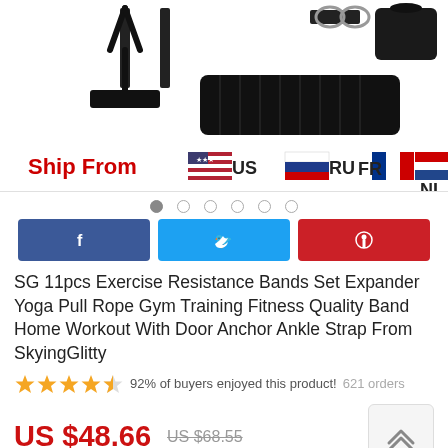[Figure (photo): Product image of SG 11pcs Exercise Resistance Bands Set with 'Ship From US RU FR NL' banner with country flags at the bottom]
[Figure (infographic): Image carousel navigation dots — 6 dots, first one filled/active]
[Figure (infographic): Social share buttons row: Facebook (blue), Twitter (cyan), Pinterest (red)]
SG 11pcs Exercise Resistance Bands Set Expander Yoga Pull Rope Gym Training Fitness Quality Band Home Workout With Door Anchor Ankle Strap From SkyingGlitty
92% of buyers enjoyed this product!  621 orders
US $48.66  US $68.55
You save: US $19.89 (29%)
Color: 11pcs